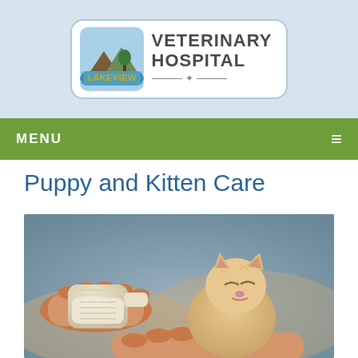[Figure (logo): Lakeview Veterinary Hospital logo with illustrated mountain/lake scene and text]
MENU  ≡
Puppy and Kitten Care
[Figure (photo): A person's hands holding a tiny newborn kitten being bottle-fed with a small milk bottle]